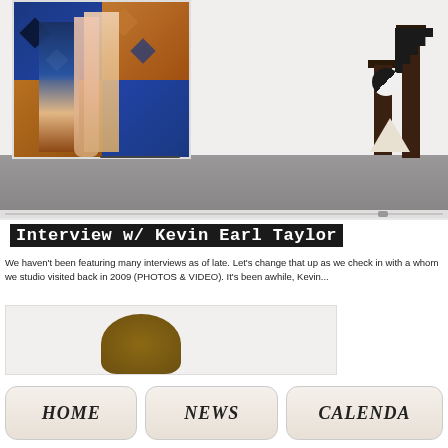[Figure (photo): Gallery installation photo showing a large artwork with figures in colorful quilt-patterned backdrop on white wall, and sculptural pedestals with black and white objects on the right side. Gray concrete floor visible at bottom. Horizontal slider control at bottom of image.]
Interview w/ Kevin Earl Taylor
We haven't been featuring many interviews as of late. Let's change that up as we check in with a whom we studio visited back in 2009 (PHOTOS & VIDEO). It's been awhile, Kevin...
[Figure (photo): Partial preview image showing the top of a person's head with brown hair against a light background.]
HOME
NEWS
CALENDA...